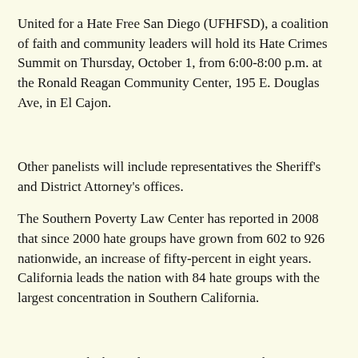United for a Hate Free San Diego (UFHFSD), a coalition of faith and community leaders will hold its Hate Crimes Summit on Thursday, October 1, from 6:00-8:00 p.m. at the Ronald Reagan Community Center, 195 E. Douglas Ave, in El Cajon.
Other panelists will include representatives the Sheriff's and District Attorney's offices.
The Southern Poverty Law Center has reported in 2008 that since 2000 hate groups have grown from 602 to 926 nationwide, an increase of fifty-percent in eight years. California leads the nation with 84 hate groups with the largest concentration in Southern California.
Recent months have also seen an increase in hate crimes and hate-